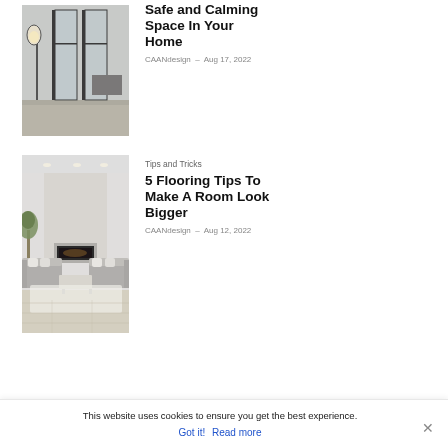[Figure (photo): Interior photo of a modern room with glass partition doors, floor lamp, and polished concrete floor]
Safe and Calming Space In Your Home
CAANdesign - Aug 17, 2022
Tips and Tricks
[Figure (photo): Modern living room with light grey sofas, fireplace, and light wood flooring]
5 Flooring Tips To Make A Room Look Bigger
CAANdesign - Aug 12, 2022
This website uses cookies to ensure you get the best experience.
Got it!  Read more